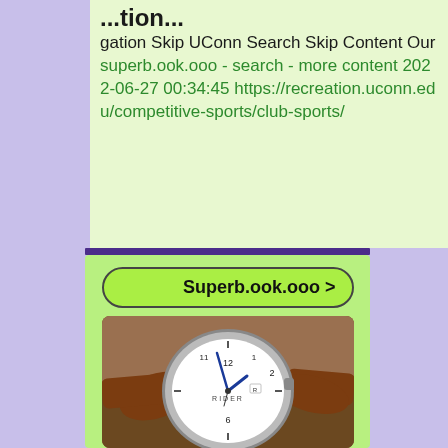...tion...
gation Skip UConn Search Skip Content Our
superb.ook.ooo - search - more content 2022-06-27 00:34:45 https://recreation.uconn.edu/competitive-sports/club-sports/
Superb.ook.ooo >
[Figure (photo): Close-up photo of a RIDER brand analog wristwatch with white dial, blue hands, brown leather strap, and silver case on a blurred warm background.]